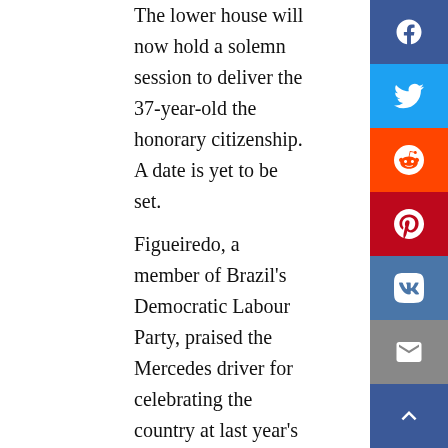The lower house will now hold a solemn session to deliver the 37-year-old the honorary citizenship. A date is yet to be set. Figueiredo, a member of Brazil's Democratic Labour Party, praised the Mercedes driver for celebrating the country at last year's race and noted he has always held up the late Brazilian triple world champion Ayrton Senna as his boyhood idol. Hamilton, knighted by his own country, had his name chanted along with that of Senna, a local hero, as he carried Brazil's flag on to the podium last year. Congressman Jhonatan de Jesus of the Republicans party said in a report that Hamilton has a "deep and strongly emotional" relationship with Brazil and that tribute...all